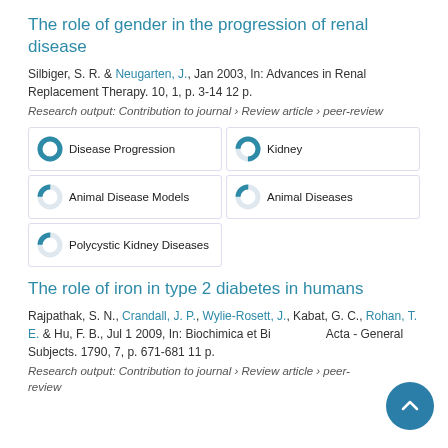The role of gender in the progression of renal disease
Silbiger, S. R. & Neugarten, J., Jan 2003, In: Advances in Renal Replacement Therapy. 10, 1, p. 3-14 12 p.
Research output: Contribution to journal › Review article › peer-review
Disease Progression
Kidney
Animal Disease Models
Animal Diseases
Polycystic Kidney Diseases
The role of iron in type 2 diabetes in humans
Rajpathak, S. N., Crandall, J. P., Wylie-Rosett, J., Kabat, G. C., Rohan, T. E. & Hu, F. B., Jul 1 2009, In: Biochimica et Biophysica Acta - General Subjects. 1790, 7, p. 671-681 11 p.
Research output: Contribution to journal › Review article › peer-review